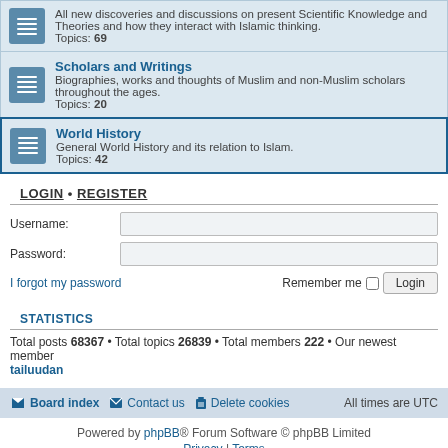All new discoveries and discussions on present Scientific Knowledge and Theories and how they interact with Islamic thinking. Topics: 69
Scholars and Writings — Biographies, works and thoughts of Muslim and non-Muslim scholars throughout the ages. Topics: 20
World History — General World History and its relation to Islam. Topics: 42
LOGIN • REGISTER
Username:
Password:
I forgot my password
Remember me
STATISTICS
Total posts 68367 • Total topics 26839 • Total members 222 • Our newest member tailuudan
Board index  Contact us  Delete cookies  All times are UTC
Powered by phpBB® Forum Software © phpBB Limited
Privacy | Terms